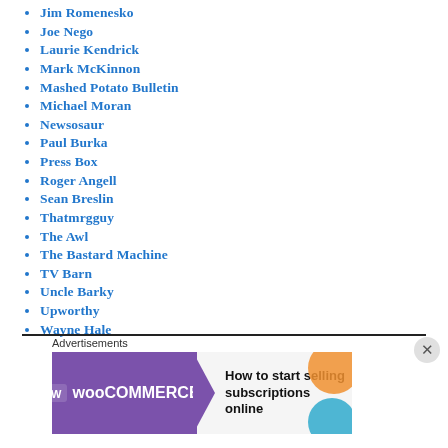Jim Romenesko
Joe Nego
Laurie Kendrick
Mark McKinnon
Mashed Potato Bulletin
Michael Moran
Newsosaur
Paul Burka
Press Box
Roger Angell
Sean Breslin
Thatmrgguy
The Awl
The Bastard Machine
TV Barn
Uncle Barky
Upworthy
Wayne Hale
[Figure (infographic): WooCommerce advertisement banner: purple left panel with WooCommerce logo and green arrow, right panel on grey background reading 'How to start selling subscriptions online' with orange and blue circular shapes.]